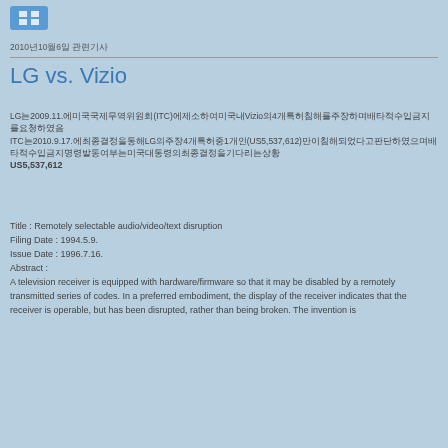[Figure (other): Small blue icon/button with grid symbol in top left corner]
2010년10월6일 관련기사
LG vs. Vizio
LG는2009.11.에미국국제무역위원회(ITC)에제소하여미국내Vizio의4개특허침해를주장하며배타적수입금지를요청하였음
ITC는2010.9.17.에최종결정을통해LG의주장4개특허중1개인(US5,537,612)만이침해되었다고판단하였으며배타적수입금지명령발동여부는미국대통령의최종결정을기다리는상황
US5,537,612
Title : Remotely selectable audio/video/text disruption
Filing Date : 1994.5.9.
Issue Date : 1996.7.16.
Abstract :
A television receiver is equipped with hardware/firmware so that it may be disabled by a remotely transmitted series of codes. In a preferred embodiment, the display of the receiver indicates that the receiver is operable, but has been disrupted, rather than being broken. The invention is